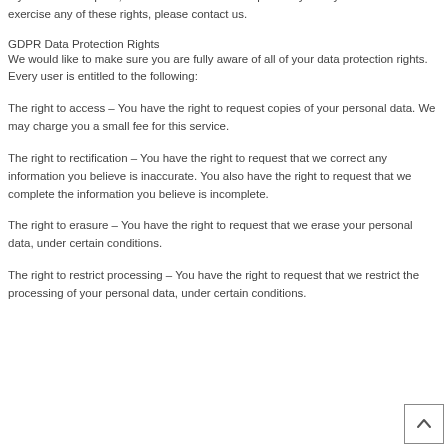If you make a request, we have one month to respond to you. If you would like to exercise any of these rights, please contact us.
GDPR Data Protection Rights
We would like to make sure you are fully aware of all of your data protection rights. Every user is entitled to the following:
The right to access – You have the right to request copies of your personal data. We may charge you a small fee for this service.
The right to rectification – You have the right to request that we correct any information you believe is inaccurate. You also have the right to request that we complete the information you believe is incomplete.
The right to erasure – You have the right to request that we erase your personal data, under certain conditions.
The right to restrict processing – You have the right to request that we restrict the processing of your personal data, under certain conditions.